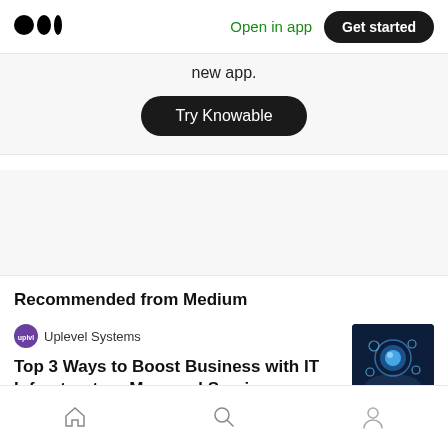Medium logo | Open in app | Get started
new app.
Try Knowable
Recommended from Medium
Uplevel Systems
Top 3 Ways to Boost Business with IT Infrastructure Managed Services
Home | Search | Profile